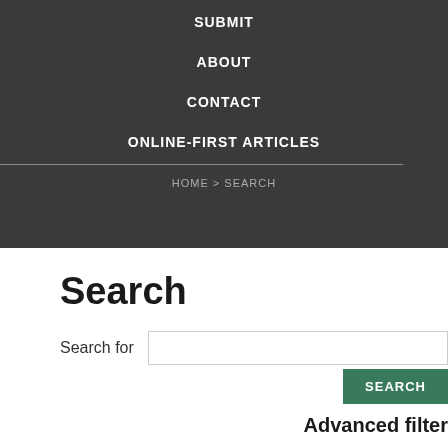SUBMIT
ABOUT
CONTACT
ONLINE-FIRST ARTICLES
HOME > SEARCH
Search
Search for
SEARCH
Advanced filter